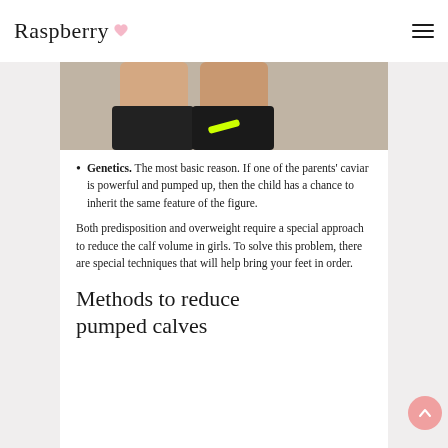Raspberry
[Figure (photo): Partial photo showing lower legs and feet wearing dark athletic shoes with neon yellow/green laces, cropped at the calf level]
Genetics. The most basic reason. If one of the parents' caviar is powerful and pumped up, then the child has a chance to inherit the same feature of the figure.
Both predisposition and overweight require a special approach to reduce the calf volume in girls. To solve this problem, there are special techniques that will help bring your feet in order.
Methods to reduce pumped calves